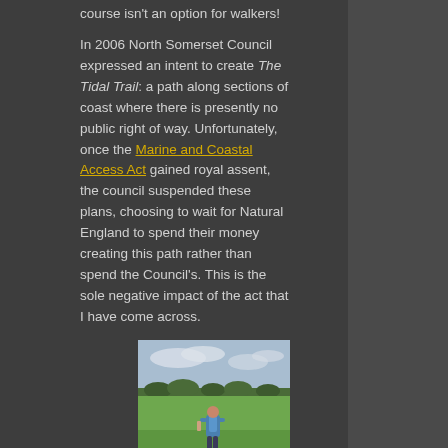course isn't an option for walkers!
In 2006 North Somerset Council expressed an intent to create The Tidal Trail: a path along sections of coast where there is presently no public right of way. Unfortunately, once the Marine and Coastal Access Act gained royal assent, the council suspended these plans, choosing to wait for Natural England to spend their money creating this path rather than spend the Council's. This is the sole negative impact of the act that I have come across.
[Figure (photo): Person walking away from camera across a green field with trees in background and cloudy sky]
Sometime later, a group of local cyclists picked up the baton instead, calling for a cycle route across a sluice on the river. I've been monitoring